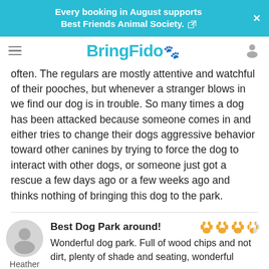Every booking in August supports Best Friends Animal Society.
[Figure (logo): BringFido logo with hamburger menu and user icon]
often. The regulars are mostly attentive and watchful of their pooches, but whenever a stranger blows in we find our dog is in trouble. So many times a dog has been attacked because someone comes in and either tries to change their dogs aggressive behavior toward other canines by trying to force the dog to interact with other dogs, or someone just got a rescue a few days ago or a few weeks ago and thinks nothing of bringing this dog to the park.
Best Dog Park around!
Wonderful dog park. Full of wood chips and not dirt, plenty of shade and seating, wonderful
Heather